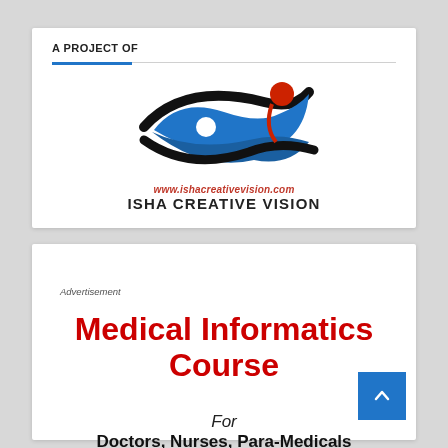A PROJECT OF
[Figure (logo): Isha Creative Vision logo: stylized eye with blue wave and black swoosh, red circle, with URL www.ishacreativevision.com and text ISHA CREATIVE VISION below]
Advertisement
Medical Informatics Course
For
Doctors, Nurses, Para-Medicals